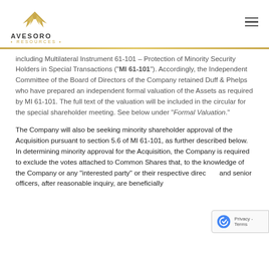[Figure (logo): Avesoro Resources logo with golden eagle wings and company name]
including Multilateral Instrument 61-101 – Protection of Minority Security Holders in Special Transactions ("MI 61-101"). Accordingly, the Independent Committee of the Board of Directors of the Company retained Duff & Phelps who have prepared an independent formal valuation of the Assets as required by MI 61-101. The full text of the valuation will be included in the circular for the special shareholder meeting. See below under "Formal Valuation."
The Company will also be seeking minority shareholder approval of the Acquisition pursuant to section 5.6 of MI 61-101, as further described below. In determining minority approval for the Acquisition, the Company is required to exclude the votes attached to Common Shares that, to the knowledge of the Company or any "interested party" or their respective directors and senior officers, after reasonable inquiry, are beneficially